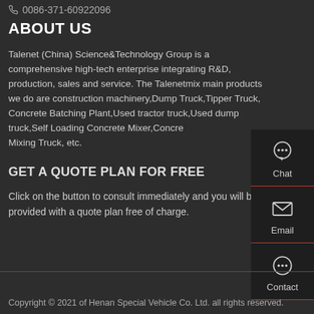0086-371-60922096
ABOUT US
Talenet (China) Science&Technology Group is a comprehensive high-tech enterprise integrating R&D, production, sales and service. The Talenetmix main products we do are construction machinery,Dump Truck,Tipper Truck, Concrete Batching Plant,Used tractor truck,Used dump truck,Self Loading Concrete Mixer,Concrete Mixing Truck, etc.
GET A QUOTE PLAN FOR FREE
Click on the button to consult immediately and you will be provided with a quote plan free of charge.
Get A Quote
[Figure (infographic): Side panel with Chat, Email, and Contact icons]
Copyright © 2021 of Henan Special Vehicle Co. Ltd. all rights reserved.